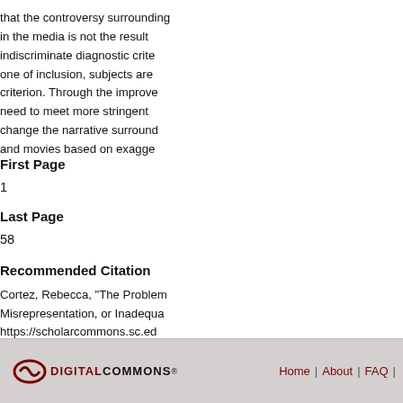that the controversy surrounding ADHD in the media is not the result of indiscriminate diagnostic criteria, but one of inclusion, subjects are failing to meet a criterion. Through the improvement of the DSM need to meet more stringent criteria. This can change the narrative surrounding ADHD in books and movies based on exaggerated symptoms.
First Page
1
Last Page
58
Recommended Citation
Cortez, Rebecca, "The Problem with ADHD: Misrepresentation, or Inadequate...
https://scholarcommons.sc.ed...
Home | About | FAQ |